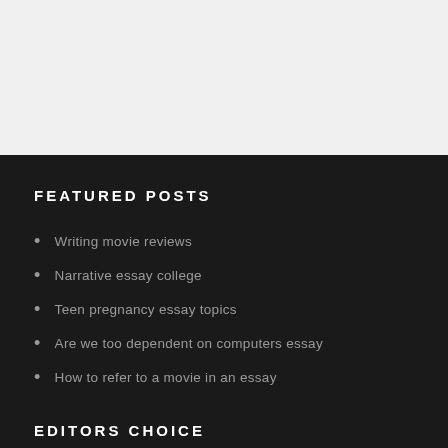FEATURED POSTS
Writing movie reviews
Narrative essay college
Teen pregnancy essay topics
Are we too dependent on computers essay
How to refer to a movie in an essay
EDITORS CHOICE